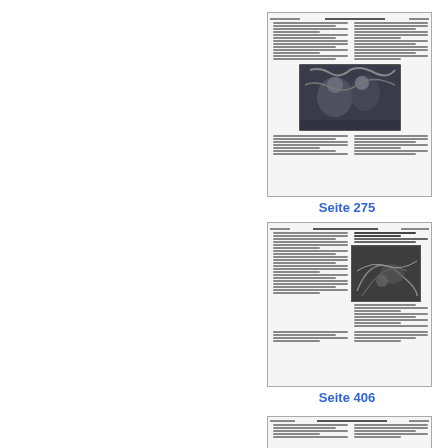[Figure (screenshot): Thumbnail of page 275 showing a two-column document page with text, a header, and a central black-and-white photograph of figures]
Seite 275
[Figure (screenshot): Thumbnail of page 406 showing a two-column document page with text and a black-and-white illustration/engraving]
Seite 406
[Figure (screenshot): Thumbnail of a third document page showing a two-column layout with text and a header]